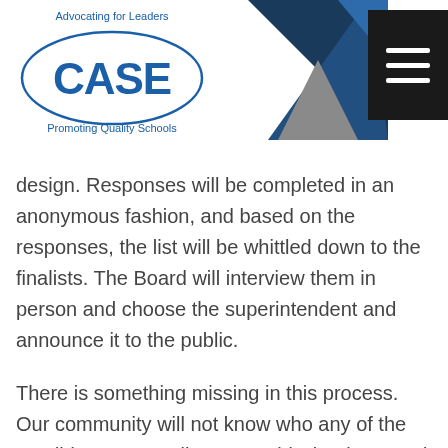[Figure (logo): CASE logo — oval with 'CASE' text, 'Advocating for Leaders' above, 'Promoting Quality Schools' below]
design. Responses will be completed in an anonymous fashion, and based on the responses, the list will be whittled down to the finalists. The Board will interview them in person and choose the superintendent and announce it to the public.
There is something missing in this process. Our community will not know who any of the candidates are until we are told who the Board has chosen. CASE realizes the need for anonymity early in the process in order to attract candidates who otherwise may not